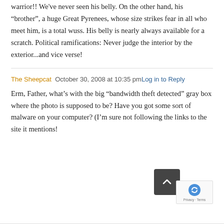warrior!! We've never seen his belly. On the other hand, his “brother”, a huge Great Pyrenees, whose size strikes fear in all who meet him, is a total wuss. His belly is nearly always available for a scratch. Political ramifications: Never judge the interior by the exterior...and vice verse!
The Sheepcat  October 30, 2008 at 10:35 pm  Log in to Reply
Erm, Father, what’s with the big “bandwidth theft detected” gray box where the photo is supposed to be? Have you got some sort of malware on your computer? (I’m sure not following the links to the site it mentions!